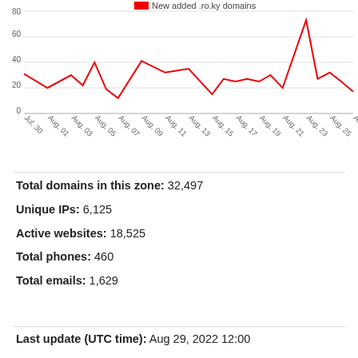[Figure (line-chart): New added .ro.ky domains]
Total domains in this zone: 32,497
Unique IPs: 6,125
Active websites: 18,525
Total phones: 460
Total emails: 1,629
Last update (UTC time): Aug 29, 2022 12:00